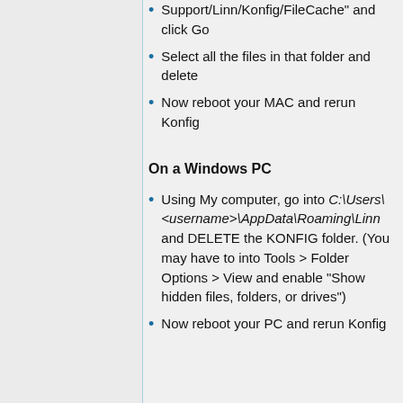Support/Linn/Konfig/FileCache" and click Go
Select all the files in that folder and delete
Now reboot your MAC and rerun Konfig
On a Windows PC
Using My computer, go into C:\Users\<username>\AppData\Roaming\Linn and DELETE the KONFIG folder. (You may have to into Tools > Folder Options > View and enable "Show hidden files, folders, or drives")
Now reboot your PC and rerun Konfig